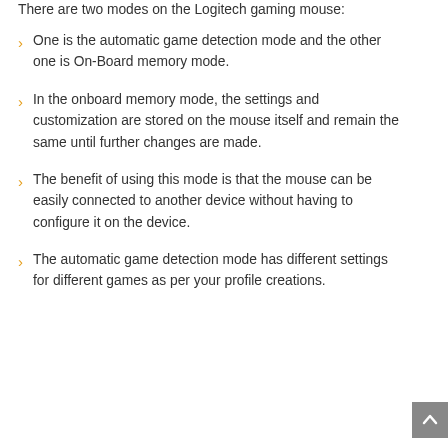There are two modes on the Logitech gaming mouse:
One is the automatic game detection mode and the other one is On-Board memory mode.
In the onboard memory mode, the settings and customization are stored on the mouse itself and remain the same until further changes are made.
The benefit of using this mode is that the mouse can be easily connected to another device without having to configure it on the device.
The automatic game detection mode has different settings for different games as per your profile creations.